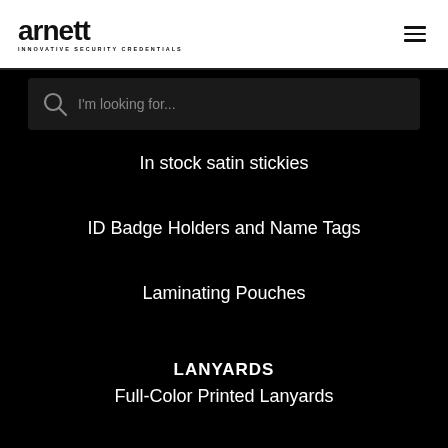arnett INNOVATIVE SECURITY CREDENTIALS
[Figure (other): Search bar with magnifying glass icon and placeholder text 'I'm looking for...']
In stock satin stickies
ID Badge Holders and Name Tags
Laminating Pouches
LANYARDS
Full-Color Printed Lanyards